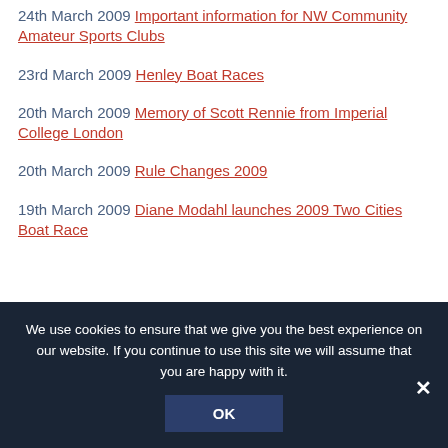24th March 2009 Important information for NW Community Amateur Sports Clubs
23rd March 2009 Henley Boat Races
20th March 2009 Memory of Scott Rennie from Imperial College London
20th March 2009 Rule Changes 2009
19th March 2009 Diane Modahl launches 2009 Two Cities Boat Race
We use cookies to ensure that we give you the best experience on our website. If you continue to use this site we will assume that you are happy with it.